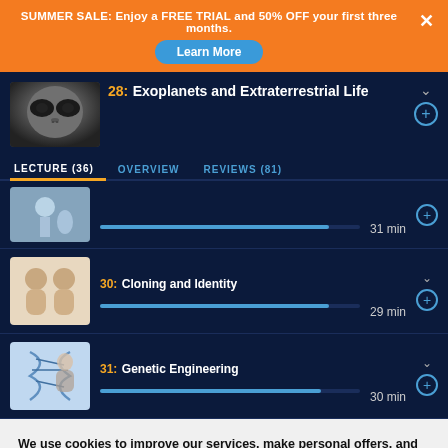SUMMER SALE: Enjoy a FREE TRIAL and 50% OFF your first three months.
Learn More
28: Exoplanets and Extraterrestrial Life
LECTURE (36)   OVERVIEW   REVIEWS (81)
[Figure (photo): Thumbnail image of alien-like face with large dark eyes, associated with lecture 29 or nearby]
31 min
[Figure (photo): Thumbnail image of two babies/twins sitting together, for Cloning and Identity lecture]
30: Cloning and Identity
29 min
[Figure (photo): Thumbnail image of person with DNA/science imagery, for Genetic Engineering lecture]
31: Genetic Engineering
30 min
We use cookies to improve our services, make personal offers, and enhance your experience. See our Cookie Policy
Accept All
Cookie Settings